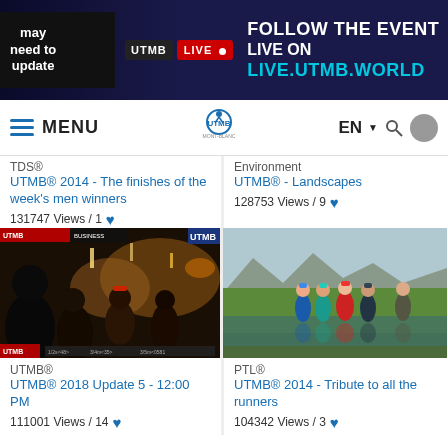[Figure (screenshot): UTMB Live event banner with 'may need to update' warning on left, UTMB LIVE badge, and 'FOLLOW THE EVENT LIVE ON LIVE.UTMB.WORLD' text on dark blue background]
MENU | UTMB Mont-Blanc logo | EN ▼ 🔍 👤
TDS®
UTMB® 2014 - The finishes of the week's men winners
131747 Views / 1 ♥
Environment
UTMB® - Landscapes
128753 Views / 9 ♥
[Figure (screenshot): UTMB broadcast screenshot showing indoor finish area at night with crowd and runners, UTMB branding overlay]
[Figure (photo): Runners in colorful rain gear hiking through green field with water reflection, mountain landscape]
UTMB®
UTMB® 2018 Update 5 - 12:00 PM
111001 Views / 14 ♥
PTL®
UTMB® 2014 - Tribute to all the runners
104342 Views / 3 ♥